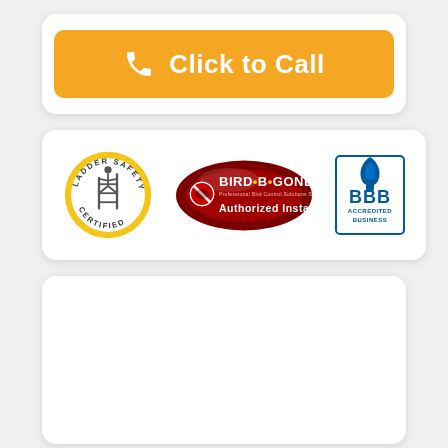[Figure (other): Orange 'Click to Call' button with phone icon]
[Figure (other): Three certification logos: Ladder Safety Certified badge, Bird-B-Gone Authorized Installer oval, and BBB Accredited Business seal]
[Figure (other): Empty white card section at bottom]